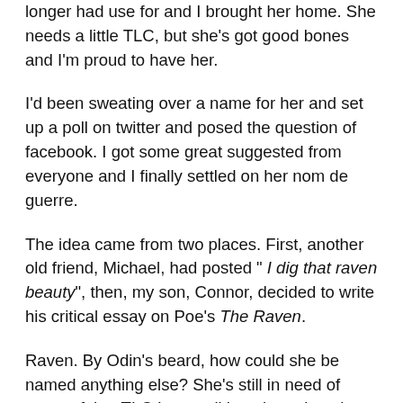longer had use for and I brought her home. She needs a little TLC, but she's got good bones and I'm proud to have her.
I'd been sweating over a name for her and set up a poll on twitter and posed the question of facebook. I got some great suggested from everyone and I finally settled on her nom de guerre.
The idea came from two places. First, another old friend, Michael, had posted " I dig that raven beauty", then, my son, Connor, decided to write his critical essay on Poe's The Raven.
Raven. By Odin's beard, how could she be named anything else? She's still in need of some of that TLC I was talking about, but she still sounds good and I've been enjoying my time with her.